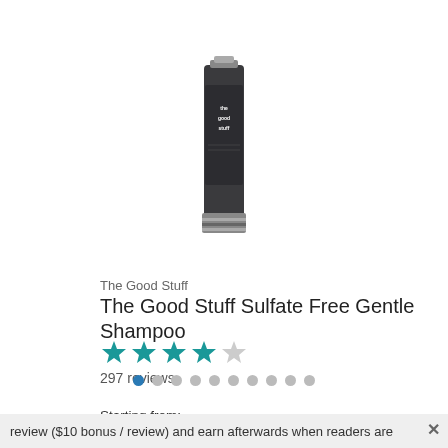[Figure (photo): Product image of The Good Stuff shampoo bottle - dark cylindrical bottle with silver cap and label showing 'the good stuff']
The Good Stuff
The Good Stuff Sulfate Free Gentle Shampoo
[Figure (other): Star rating: 4 out of 5 stars (4 filled teal stars, 1 empty star)]
297 reviews
Starting from:
$10.49
[Figure (logo): Walgreens logo in red italic script]
[Figure (other): Pagination dots: 10 dots, first dot is filled blue, rest are gray]
review ($10 bonus / review) and earn afterwards when readers are